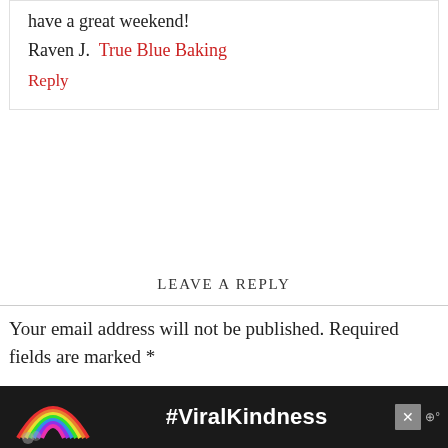have a great weekend!
Raven J. True Blue Baking
Reply
LEAVE A REPLY
Your email address will not be published. Required fields are marked *
Comment *
[Figure (infographic): Dark advertisement banner with rainbow illustration and #ViralKindness hashtag text]